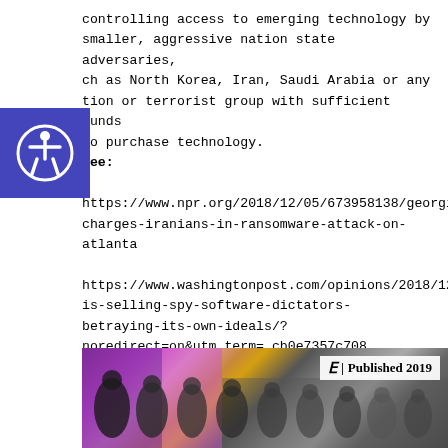controlling access to emerging technology by smaller, aggressive nation state adversaries, ch as North Korea, Iran, Saudi Arabia or any tion or terrorist group with sufficient funds to purchase technology. See:
https://www.npr.org/2018/12/05/673958138/georgia-charges-iranians-in-ransomware-attack-on-atlanta
https://www.washingtonpost.com/opinions/2018/12/0 is-selling-spy-software-dictators-betraying-its-own-ideals/?noredirect=on&utm_term=.cb0e7357c708
[Figure (photo): Group photo of men in formal/traditional dress at an event, with a New York Times 'Published 2019' overlay in the upper right corner.]